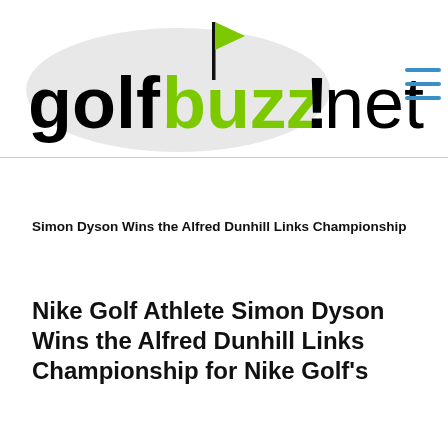[Figure (logo): golfbuzz!net logo with green oval background, golf flag icon, and hamburger menu icon]
Simon Dyson Wins the Alfred Dunhill Links Championship
Nike Golf Athlete Simon Dyson Wins the Alfred Dunhill Links Championship for Nike Golf's